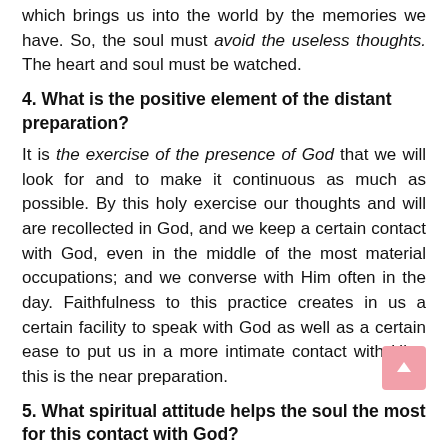which brings us into the world by the memories we have. So, the soul must avoid the useless thoughts. The heart and soul must be watched.
4. What is the positive element of the distant preparation?
It is the exercise of the presence of God that we will look for and to make it continuous as much as possible. By this holy exercise our thoughts and will are recollected in God, and we keep a certain contact with God, even in the middle of the most material occupations; and we converse with Him often in the day. Faithfulness to this practice creates in us a certain facility to speak with God as well as a certain ease to put us in a more intimate contact with Him: this is the near preparation.
5. What spiritual attitude helps the soul the most for this contact with God?
It is the attitude of humble confidence which puts us before God in the position which fits us best. God, in effect, is our